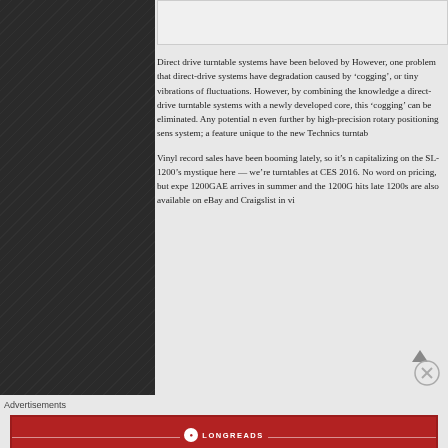[Figure (other): Dark textured left panel / sidebar, diagonal line pattern on dark background]
Direct drive turntable systems have been beloved by However, one problem that direct-drive systems have degradation caused by 'cogging', or tiny vibrations of fluctuations. However, by combining the knowledge a direct-drive turntable systems with a newly developed core, this 'cogging' can be eliminated. Any potential n even further by high-precision rotary positioning sens system; a feature unique to the new Technics turntab
Vinyl record sales have been booming lately, so it's n capitalizing on the SL-1200's mystique here — we're turntables at CES 2016. No word on pricing, but expe 1200GAE arrives in summer and the 1200G hits late 1200s are also available on eBay and Craigslist in vi
Advertisements
[Figure (other): Longreads advertisement banner — red background with Longreads logo and tagline: The best stories on the web – ours, and everyone else's.]